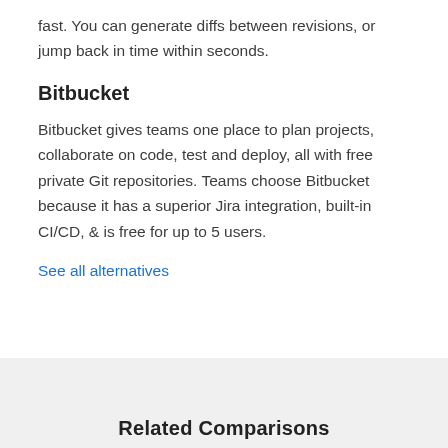fast. You can generate diffs between revisions, or jump back in time within seconds.
Bitbucket
Bitbucket gives teams one place to plan projects, collaborate on code, test and deploy, all with free private Git repositories. Teams choose Bitbucket because it has a superior Jira integration, built-in CI/CD, & is free for up to 5 users.
See all alternatives
Related Comparisons